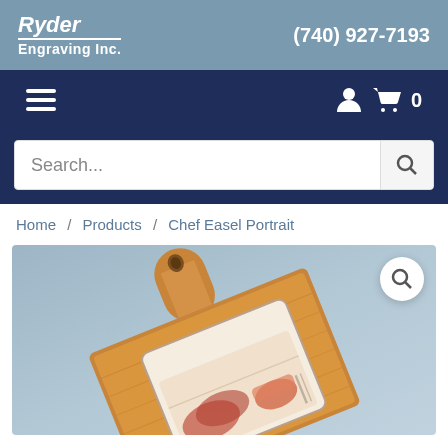Ryder Engraving Inc. | (740) 927-7193
[Figure (screenshot): Website navigation bar with hamburger menu icon and cart icon showing 0 items]
[Figure (screenshot): Search bar with placeholder text 'Search...' and search button]
Home / Products / Chef Easel Portrait
[Figure (photo): Product photo of a wooden cutting board / paddle board with an engraved chef portrait image showing food items, displayed on a blue-grey gradient background with a zoom magnifier button in the top right corner]